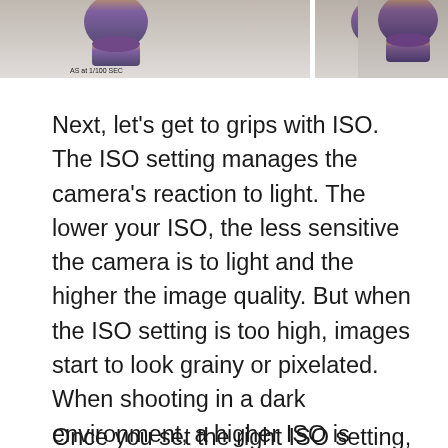[Figure (photo): Three photographs of a vase/ceramic object side by side, showing different camera exposure/ISO settings. The leftmost image is labeled 'AS at 1/100 SEC'. The photos show a rounded amber/purple vase against a light grey background.]
Next, let's get to grips with ISO. The ISO setting manages the camera's reaction to light. The lower your ISO, the less sensitive the camera is to light and the higher the image quality. But when the ISO setting is too high, images start to look grainy or pixelated. When shooting in a dark environment, a higher ISO is needed, but the goal is to find a good balance between improving the lighting and the image quality.
Once you set the right ISO setting, you adjust...